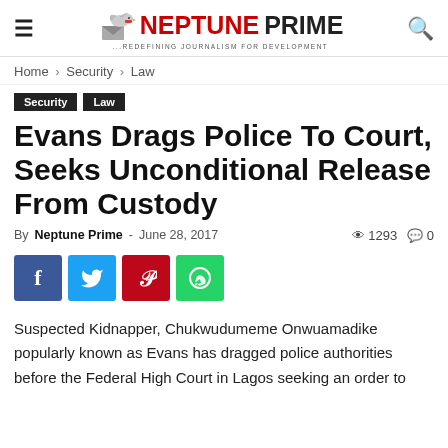Neptune Prime — Redefining Journalism For Development
Home › Security › Law
Security
Law
Evans Drags Police To Court, Seeks Unconditional Release From Custody
By Neptune Prime - June 28, 2017 | 1293 views | 0 comments
[Figure (other): Social share buttons: Facebook, Twitter, Pinterest, WhatsApp]
Suspected Kidnapper, Chukwudumeme Onwuamadike popularly known as Evans has dragged police authorities before the Federal High Court in Lagos seeking an order to